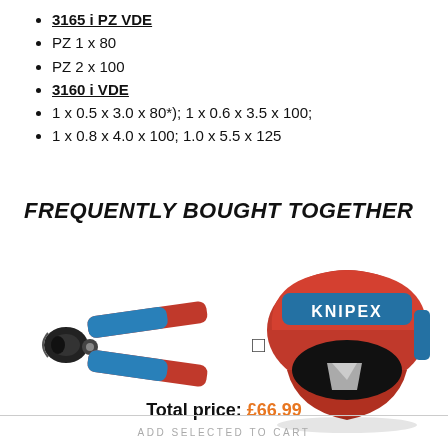3165 i PZ VDE
PZ 1 x 80
PZ 2 x 100
3160 i VDE
1 x 0.5 x 3.0 x 80*); 1 x 0.6 x 3.5 x 100;
1 x 0.8 x 4.0 x 100; 1.0 x 5.5 x 125
FREQUENTLY BOUGHT TOGETHER
[Figure (photo): Knipex pliers with red and blue handles]
[Figure (photo): Knipex red pipe cutter tool]
Total price: £66.99
ADD SELECTED TO CART